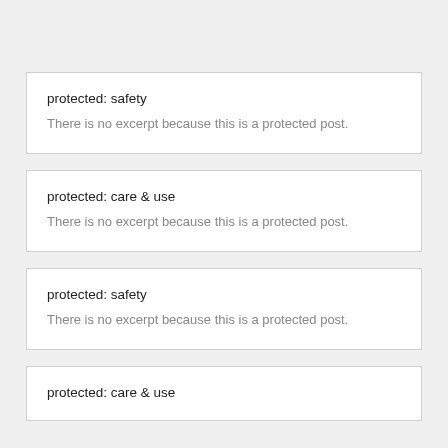protected: safety
There is no excerpt because this is a protected post.
protected: care & use
There is no excerpt because this is a protected post.
protected: safety
There is no excerpt because this is a protected post.
protected: care & use